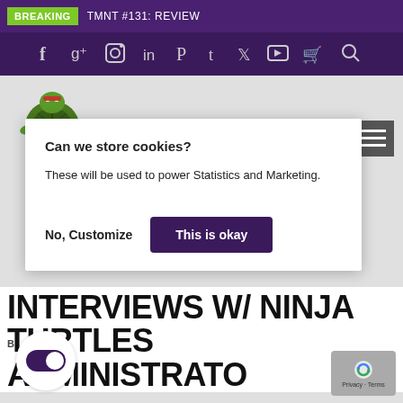BREAKING  TMNT #131: REVIEW
[Figure (screenshot): Social media icon bar with Facebook, Google+, Instagram, LinkedIn, Pinterest, Tumblr, Twitter, YouTube, Cart, and Search icons on dark purple background]
[Figure (logo): Pixel art turtle character logo (TMNT style) in green with red accessories]
[Figure (screenshot): Hamburger menu button (three horizontal lines) on gray background, top right]
Can we store cookies?
These will be used to power Statistics and Marketing.
No, Customize    This is okay
INTERVIEWS W/ NINJA TURTLES ADMINISTRATOR
ZACH GASIOR  •  SEPTEMBER 6, 2017